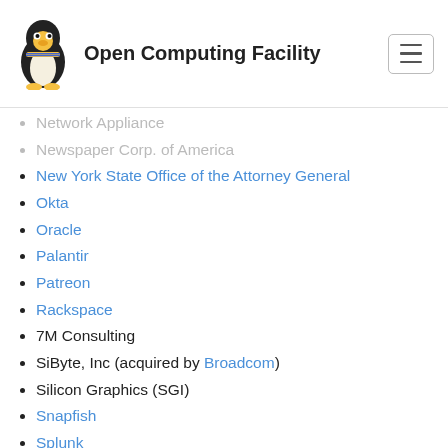Open Computing Facility
Network Appliance
Newspaper Corp. of America
New York State Office of the Attorney General
Okta
Oracle
Palantir
Patreon
Rackspace
7M Consulting
SiByte, Inc (acquired by Broadcom)
Silicon Graphics (SGI)
Snapfish
Splunk
Square
StarNine Technologies
Sun Microsystems (acquired by Oracle)
Taos Mountain Software
TCSI Corp.
Twitter
Uber
Walmart.com
Wells Fargo Bank